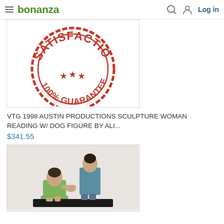bonanza  Log in
[Figure (photo): Red circular stamp reading SATISFACTION 100% GUARANTEE with stars]
VTG 1998 AUSTIN PRODUCTIONS SCULPTURE WOMAN READING W/ DOG FIGURE BY ALI...
$341.55
[Figure (photo): Sculpture of two women figures sitting, one in green dress, on a black base]